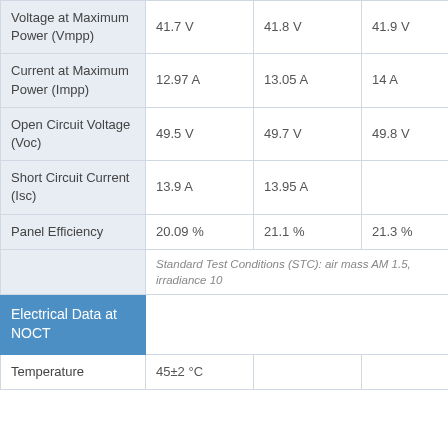| Parameter | Value 1 | Value 2 | Value 3 |
| --- | --- | --- | --- |
| Voltage at Maximum Power (Vmpp) | 41.7 V | 41.8 V | 41.9 V |
| Current at Maximum Power (Impp) | 12.97 A | 13.05 A | 14 A |
| Open Circuit Voltage (Voc) | 49.5 V | 49.7 V | 49.8 V |
| Short Circuit Current (Isc) | 13.9 A | 13.95 A |  |
| Panel Efficiency | 20.09 % | 21.1 % | 21.3 % |
|  | Standard Test Conditions (STC): air mass AM 1.5, irradiance 10 |  |  |
| Electrical Data at NOCT |  |  |  |
| Temperature | 45±2 °C |  |  |